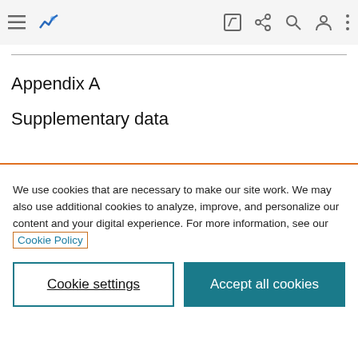[Figure (screenshot): Top navigation bar with hamburger menu icon, blue logo with chart icon, edit icon, share icon, search icon, user icon, and more options icon]
Appendix A
Supplementary data
We use cookies that are necessary to make our site work. We may also use additional cookies to analyze, improve, and personalize our content and your digital experience. For more information, see our Cookie Policy
Cookie settings
Accept all cookies